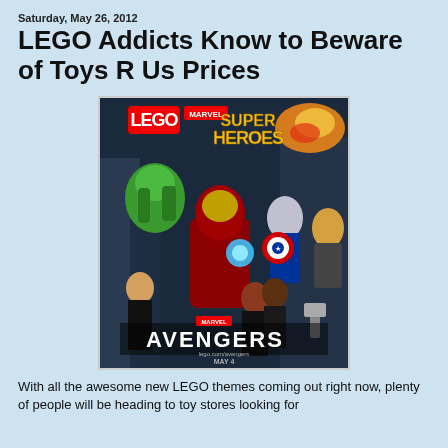Saturday, May 26, 2012
LEGO Addicts Know to Beware of Toys R Us Prices
[Figure (photo): LEGO Marvel Super Heroes Avengers movie promotional image showing LEGO minifigures of Iron Man, Hulk, Hawkeye, Black Widow, Thor, Captain America, and Nick Fury with the logos 'LEGO Marvel Super Heroes' and 'Avengers' and text 'lego.com/avengers May 4']
With all the awesome new LEGO themes coming out right now, plenty of people will be heading to toy stores looking for